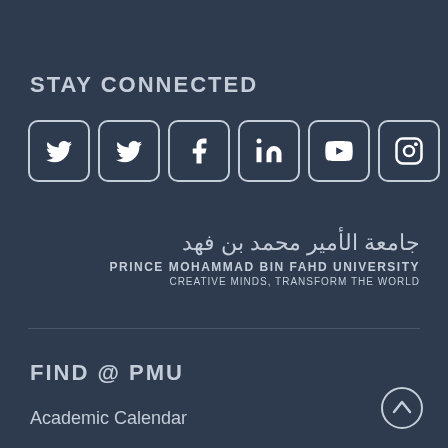STAY CONNECTED
[Figure (infographic): Seven social media icon buttons in rounded square borders: Twitter, Twitter, Facebook, LinkedIn, YouTube, Instagram, RSS feed]
[Figure (logo): Prince Mohammad Bin Fahd University logo with Arabic text, university name, and tagline: CREATIVE MINDS, TRANSFORM THE WORLD]
FIND @ PMU
Academic Calendar
[Figure (other): Scroll to top circular button with upward arrow icon]